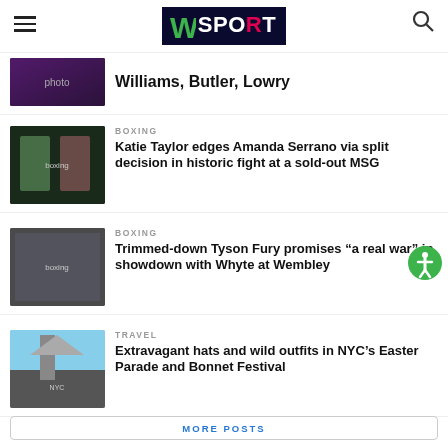W SPORT (logo)
Williams, Butler, Lowry
BOXING
Katie Taylor edges Amanda Serrano via split decision in historic fight at a sold-out MSG
BOXING
Trimmed-down Tyson Fury promises “a real war” in showdown with Whyte at Wembley
TRAVEL
Extravagant hats and wild outfits in NYC’s Easter Parade and Bonnet Festival
MORE POSTS